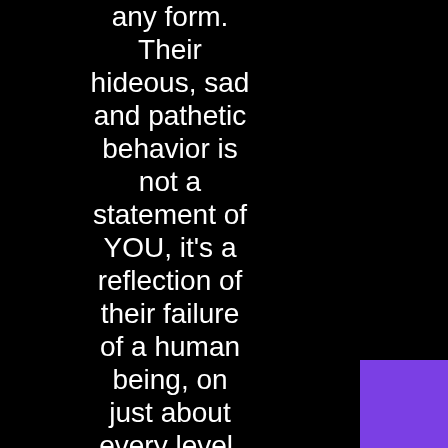any form. Their hideous, sad and pathetic behavior is not a statement of YOU, it's a reflection of their failure of a human being, on just about every level. They way they leave tells you EVERYTHING. And, it absolutely confirms they were
[Figure (other): Purple square in the bottom-right corner]